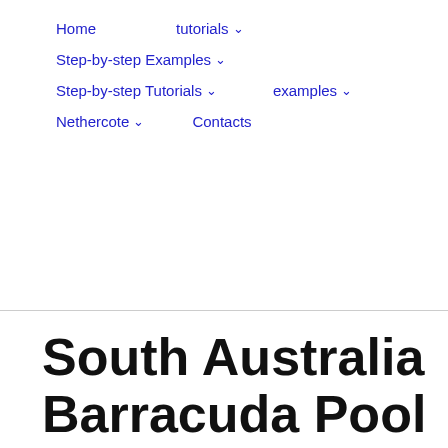Home   tutorials ∨
Step-by-step Examples ∨
Step-by-step Tutorials ∨   examples ∨
Nethercote ∨   Contacts
South Australia Barracuda Pool